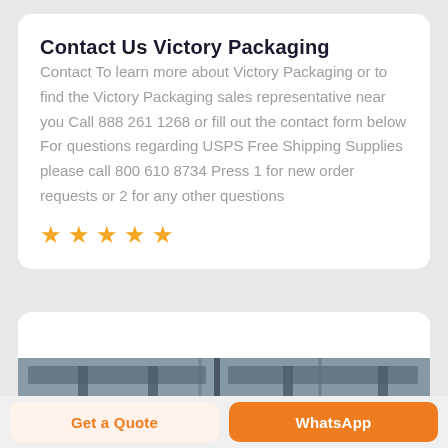Contact Us Victory Packaging
Contact To learn more about Victory Packaging or to find the Victory Packaging sales representative near you Call 888 261 1268 or fill out the contact form below For questions regarding USPS Free Shipping Supplies please call 800 610 8734 Press 1 for new order requests or 2 for any other questions
[Figure (other): Five orange star rating icons displayed in a row]
[Figure (photo): Partial view of an industrial warehouse or facility interior showing metal frames and equipment]
Get a Quote
WhatsApp